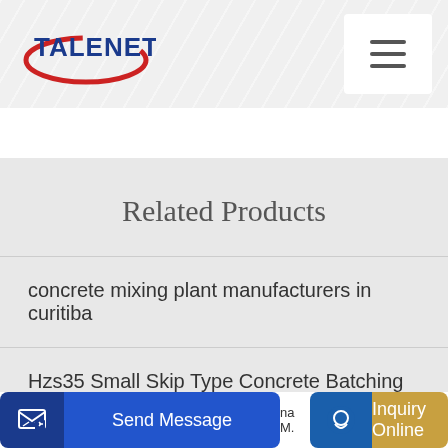[Figure (logo): Talenet logo with red swoosh and blue text]
Related Products
concrete mixing plant manufacturers in curitiba
Hzs35 Small Skip Type Concrete Batching Plant
Send Message | Inquiry Online